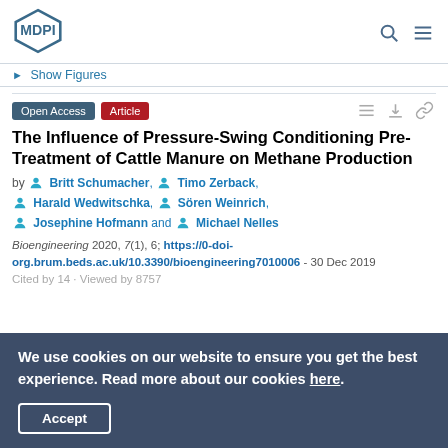MDPI
► Show Figures
Open Access  Article
The Influence of Pressure-Swing Conditioning Pre-Treatment of Cattle Manure on Methane Production
by Britt Schumacher, Timo Zerback, Harald Wedwitschka, Sören Weinrich, Josephine Hofmann and Michael Nelles
Bioengineering 2020, 7(1), 6; https://0-doi-org.brum.beds.ac.uk/10.3390/bioengineering7010006 - 30 Dec 2019
We use cookies on our website to ensure you get the best experience. Read more about our cookies here.
Accept